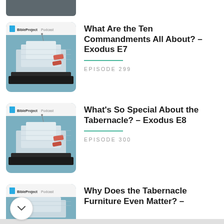[Figure (screenshot): Partial thumbnail image of BibleProject Podcast episode at top of page, cropped]
What Are the Ten Commandments All About? – Exodus E7
EPISODE 299
[Figure (screenshot): BibleProject Podcast thumbnail showing 3D illustration of the Tabernacle/Ark with teal background]
What's So Special About the Tabernacle? – Exodus E8
EPISODE 300
[Figure (screenshot): BibleProject Podcast thumbnail, partially visible at bottom]
Why Does the Tabernacle Furniture Even Matter? –